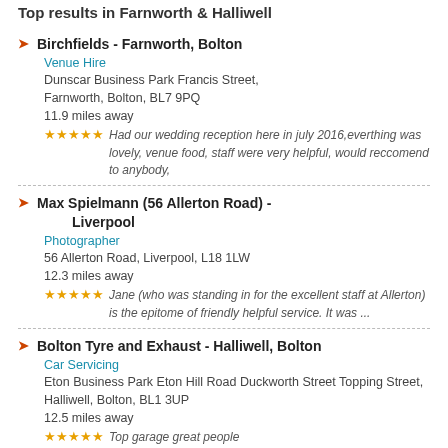Top results in Farnworth & Halliwell
Birchfields - Farnworth, Bolton | Venue Hire | Dunscar Business Park Francis Street, Farnworth, Bolton, BL7 9PQ | 11.9 miles away | Had our wedding reception here in july 2016,everthing was lovely, venue food, staff were very helpful, would reccomend to anybody,
Max Spielmann (56 Allerton Road) - Liverpool | Photographer | 56 Allerton Road, Liverpool, L18 1LW | 12.3 miles away | Jane (who was standing in for the excellent staff at Allerton) is the epitome of friendly helpful service. It was ...
Bolton Tyre and Exhaust - Halliwell, Bolton | Car Servicing | Eton Business Park Eton Hill Road Duckworth Street Topping Street, Halliwell, Bolton, BL1 3UP | 12.5 miles away | Top garage great people